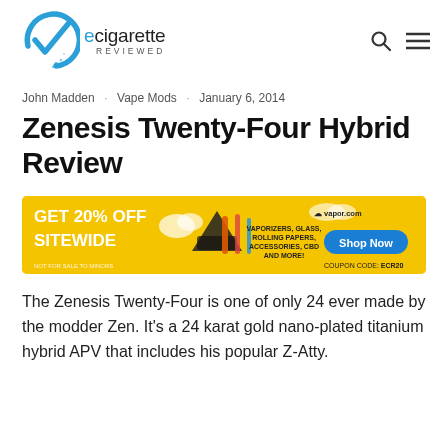ecigarette REVIEWED
John Madden · Vape Mods · January 6, 2014
Zenesis Twenty-Four Hybrid Review
[Figure (infographic): Advertisement banner: GET 20% OFF SITEWIDE at vapor.com. COUPON CODE: ECR20. Shop Now button. Vaporizers, glass, rolling papers, accessories, CBD and more. NOT FOR SALE TO MINORS.]
The Zenesis Twenty-Four is one of only 24 ever made by the modder Zen. It's a 24 karat gold nano-plated titanium hybrid APV that includes his popular Z-Atty.